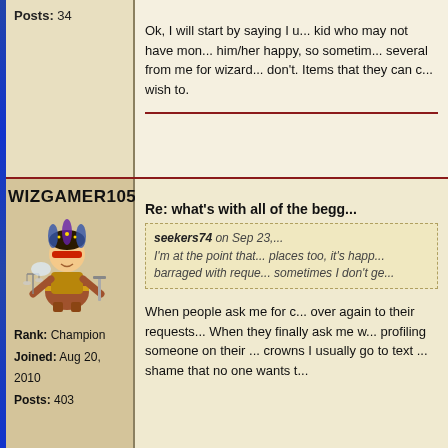Posts: 34
Ok, I will start by saying I u... kid who may not have mon... him/her happy, so sometim... several from me for wizard... don't. Items that they can c... wish to.
WIZGAMER105
[Figure (illustration): Avatar of a cartoon character dressed as a wizard/judge holding scales]
Rank: Champion
Joined: Aug 20, 2010
Posts: 403
Re: what's with all of the begg...
seekers74 on Sep 23,... I'm at the point that... places too, it's happ... barraged with reque... sometimes I don't ge...
When people ask me for c... over again to their requests... When they finally ask me w... profiling someone on their ... crowns I usually go to text ... shame that no one wants t...